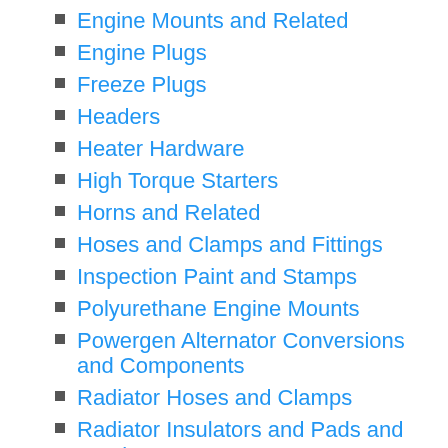Engine Mounts and Related
Engine Plugs
Freeze Plugs
Headers
Heater Hardware
High Torque Starters
Horns and Related
Hoses and Clamps and Fittings
Inspection Paint and Stamps
Polyurethane Engine Mounts
Powergen Alternator Conversions and Components
Radiator Hoses and Clamps
Radiator Insulators and Pads and Brackets
Radiator Splash Shields
Sealants
Specialty Paints and Dyes
Starters and Related
Teflon Tape